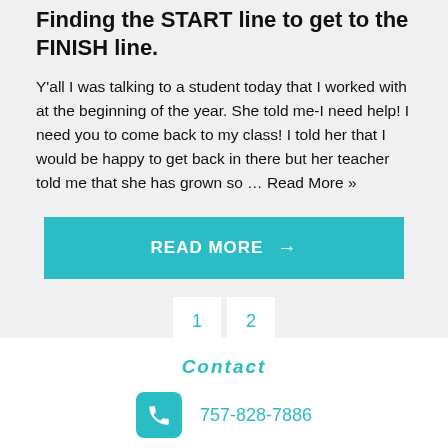Finding the START line to get to the FINISH line.
Y'all I was talking to a student today that I worked with at the beginning of the year. She told me-I need help! I need you to come back to my class! I told her that I would be happy to get back in there but her teacher told me that she has grown so … Read More »
READ MORE →
1  2
Contact
757-828-7886